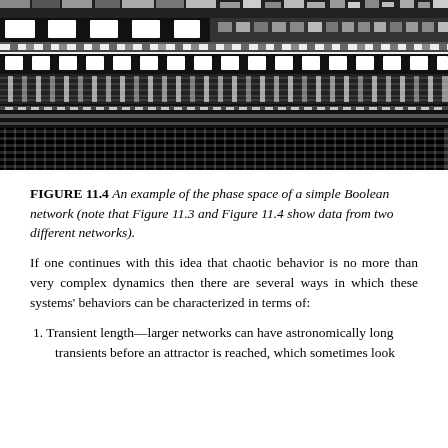[Figure (illustration): A black and white pixel/cellular automata pattern showing phase space of a Boolean network — complex grid-like pattern of black and white cells arranged in a striped and checkerboard-like mosaic.]
FIGURE 11.4 An example of the phase space of a simple Boolean network (note that Figure 11.3 and Figure 11.4 show data from two different networks).
If one continues with this idea that chaotic behavior is no more than very complex dynamics then there are several ways in which these systems' behaviors can be characterized in terms of:
1. Transient length—larger networks can have astronomically long transients before an attractor is reached, which sometimes look